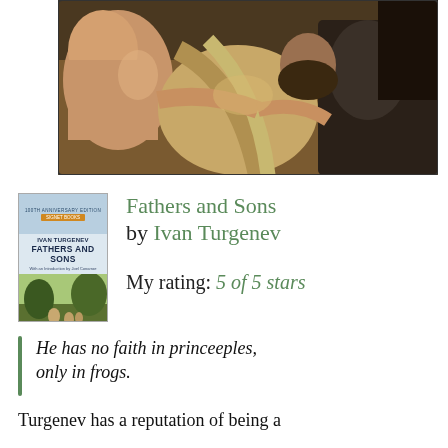[Figure (photo): Detail of a classical oil painting showing figures with exposed skin in dramatic lighting — appears to be a Renaissance or Baroque work with warm earth tones.]
[Figure (photo): Book cover of 'Fathers and Sons' by Ivan Turgenev, 100th Anniversary Edition, Signet Books, showing a pastoral outdoor scene.]
Fathers and Sons by Ivan Turgenev
My rating: 5 of 5 stars
He has no faith in princeeples, only in frogs.
Turgenev has a reputation of being a